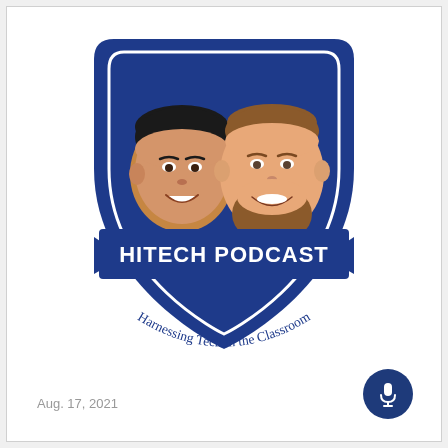[Figure (logo): HiTech Podcast logo: a dark navy shield/crest shape with a white inner border containing two cartoon illustrated faces (one darker-skinned with black hair, one lighter-skinned with a brown beard), a dark navy ribbon banner across the middle reading 'HITECH PODCAST' in bold white text, and curved text below reading 'Harnessing Tech in the Classroom']
Aug. 17, 2021